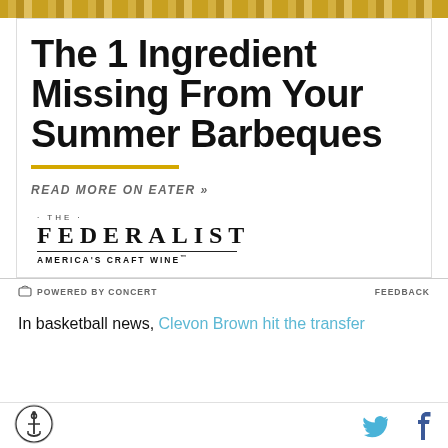[Figure (other): Top decorative gold/tan striped banner bar]
The 1 Ingredient Missing From Your Summer Barbeques
READ MORE ON EATER »
[Figure (logo): The Federalist - America's Craft Wine logo with anchor motif]
POWERED BY CONCERT
FEEDBACK
In basketball news, Clevon Brown hit the transfer
[Figure (logo): Anchor logo circle at bottom left]
[Figure (other): Twitter bird icon and Facebook f icon at bottom right]